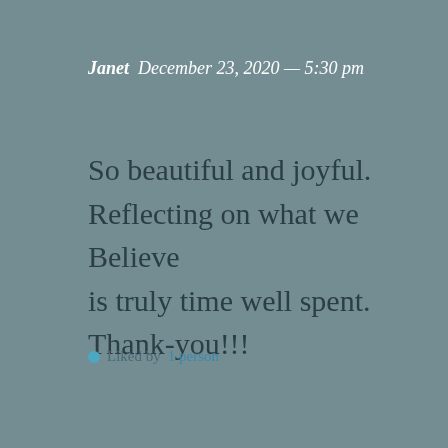Janet  December 23, 2020 — 5:30 pm
So beautiful and joyful. Reflecting on what we Believe is truly time well spent. Thank-you!!!
Liked by 1 person
Reply